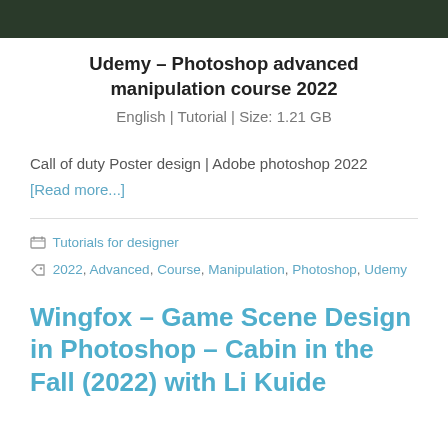[Figure (photo): Dark green nature/forest scene image at the top of the page, partially cropped]
Udemy – Photoshop advanced manipulation course 2022
English | Tutorial | Size: 1.21 GB
Call of duty Poster design | Adobe photoshop 2022
[Read more...]
Tutorials for designer
2022, Advanced, Course, Manipulation, Photoshop, Udemy
Wingfox – Game Scene Design in Photoshop – Cabin in the Fall (2022) with Li Kuide